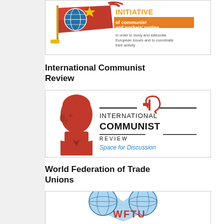[Figure (logo): Initiative of communist and workers' parties logo — red flag with globe, yellow star, text reading 'INITIATIVE of communist and workers' parties in order to study and elaborate European issues and to coordinate their activity']
International Communist Review
[Figure (logo): International Communist Review logo — red silhouette of Lenin profile on left, hammer and sickle symbol, black text 'INTERNATIONAL COMMUNIST REVIEW', blue italic text 'Space for Discussion']
World Federation of Trade Unions
[Figure (logo): World Federation of Trade Unions (WFTU) logo — blue globe/heart shape with world map, red letters 'WFTU' at bottom]